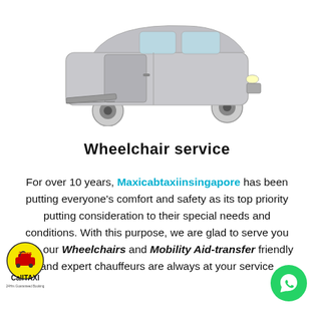[Figure (photo): Silver wheelchair-accessible minivan (Toyota Sienna style) with side ramp deployed, photographed on white background]
Wheelchair service
For over 10 years, Maxicabtaxiinsingapore has been putting everyone's comfort and safety as its top priority putting consideration to their special needs and conditions. With this purpose, we are glad to serve you with our Wheelchairs and Mobility Aid-transfer friendly and expert chauffeurs are always at your service
[Figure (logo): CallTAXI logo with taxi icon and 24hrs text]
[Figure (logo): WhatsApp green circle button icon]